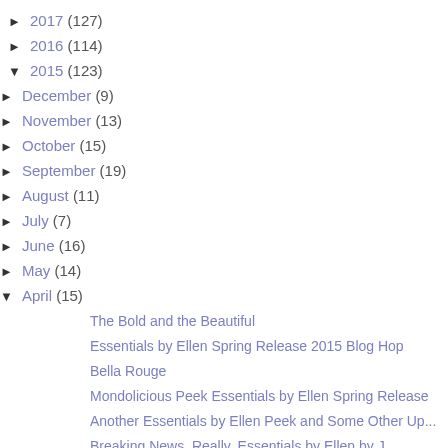► 2017 (127)
► 2016 (114)
▼ 2015 (123)
► December (9)
► November (13)
► October (15)
► September (19)
► August (11)
► July (7)
► June (16)
► May (14)
▼ April (15)
The Bold and the Beautiful
Essentials by Ellen Spring Release 2015 Blog Hop
Bella Rouge
Mondolicious Peek Essentials by Ellen Spring Release
Another Essentials by Ellen Peek and Some Other Up...
Breaking News. Really. Essentials by Ellen by J...